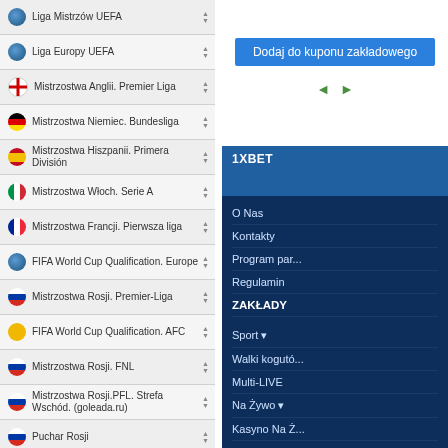Liga Mistrzów UEFA
Liga Europy UEFA
Mistrzostwa Anglii. Premier Liga
Mistrzostwa Niemiec. Bundesliga
Mistrzostwa Hiszpanii. Primera División
Mistrzostwa Włoch. Serie A
Mistrzostwa Francji. Pierwsza liga
FIFA World Cup Qualification. Europe
Mistrzostwa Rosji. Premier-Liga
FIFA World Cup Qualification. AFC
Mistrzostwa Rosji. FNL
Mistrzostwa Rosji.PFL. Strefa Wschód. (goleada.ru)
Puchar Rosji
Rosja. Zwycięzca
Puchar Narodów Afryki do 20 lat.
Copa Libertadores. Winner
Puchar Ameryki Południowej
South American Championship U17
Dodaj do kuponu zakładowego
1XBET
O Nas
Kontakty
Program par...
Regulamin
ZAKŁADY
Sport ▾
Walki kogutó...
Multi-LIVE
Na Żywo ▾
Kasyno Na Ż...
TOTO ▾
Finansowe
GRY
Automaty
Teleturnieje